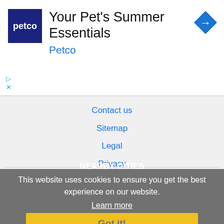[Figure (screenshot): Petco advertisement banner with logo, title 'Your Pet's Summer Essentials', brand name 'Petco', and a blue navigation arrow icon]
Contact us
Sitemap
Legal
Privacy
NEARBY CITIES
This website uses cookies to ensure you get the best experience on our website.
Learn more
Charleston, SC Jobs
Mount Pleasant, SC Jobs
North Charleston, SC Jobs
Savannah, GA Jobs
Got it!